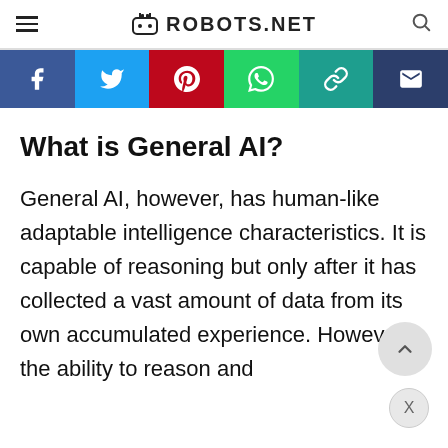ROBOTS.NET
[Figure (infographic): Social media sharing bar with Facebook, Twitter, Pinterest, WhatsApp, Copy Link, and Email buttons]
What is General AI?
General AI, however, has human-like adaptable intelligence characteristics. It is capable of reasoning but only after it has collected a vast amount of data from its own accumulated experience. However, the ability to reason and